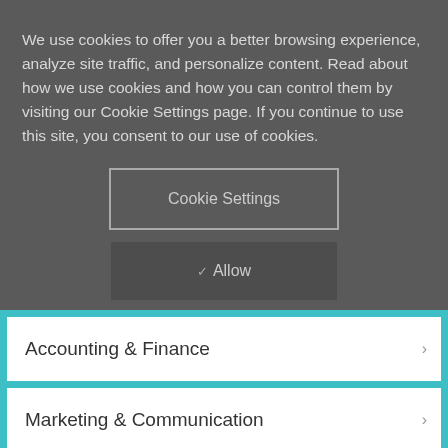We use cookies to offer you a better browsing experience, analyze site traffic, and personalize content. Read about how we use cookies and how you can control them by visiting our Cookie Settings page. If you continue to use this site, you consent to our use of cookies.
Cookie Settings
✓ Allow
Accounting & Finance
Marketing & Communication